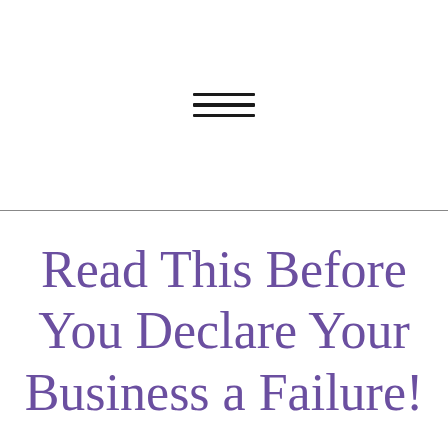[Figure (other): Hamburger menu icon — three horizontal parallel lines centered in the top half of the page]
Read This Before You Declare Your Business a Failure!